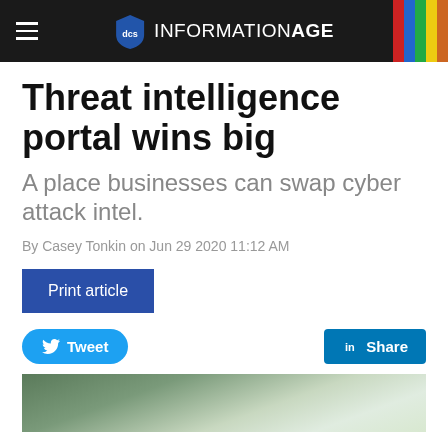INFORMATION AGE
Threat intelligence portal wins big
A place businesses can swap cyber attack intel.
By Casey Tonkin on Jun 29 2020 11:12 AM
Print article
Tweet
Share
[Figure (photo): Partial photo visible at bottom of page showing blurred green foliage/plant background]